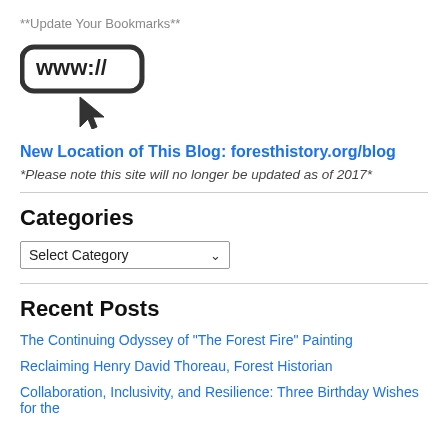**Update Your Bookmarks**
[Figure (illustration): Browser address bar icon showing www:// with a mouse cursor arrow beneath it]
New Location of This Blog: foresthistory.org/blog
*Please note this site will no longer be updated as of 2017*
Categories
Select Category
Recent Posts
The Continuing Odyssey of "The Forest Fire" Painting
Reclaiming Henry David Thoreau, Forest Historian
Collaboration, Inclusivity, and Resilience: Three Birthday Wishes for the